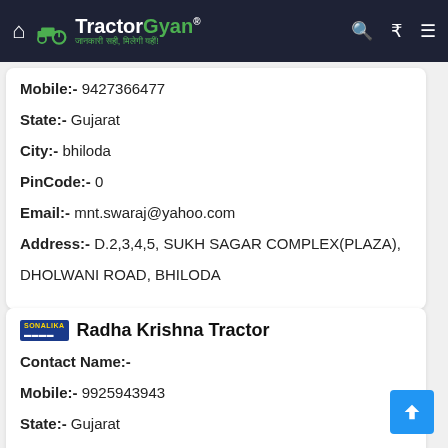TractorGyan - जानकारी सही, मिलेगी यहीं!
Mobile:- 9427366477
State:- Gujarat
City:- bhiloda
PinCode:- 0
Email:- mnt.swaraj@yahoo.com
Address:- D.2,3,4,5, SUKH SAGAR COMPLEX(PLAZA), DHOLWANI ROAD, BHILODA
Radha Krishna Tractor
Contact Name:-
Mobile:- 9925943943
State:- Gujarat